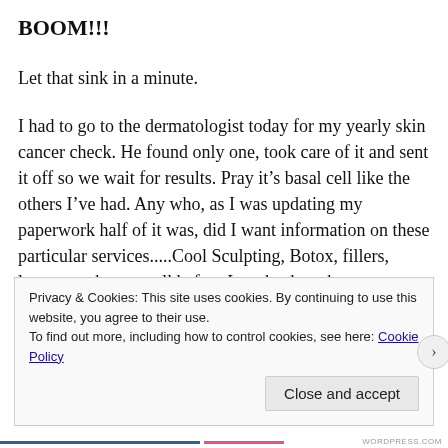BOOM!!!
Let that sink in a minute.
I had to go to the dermatologist today for my yearly skin cancer check. He found only one, took care of it and sent it off so we wait for results. Pray it’s basal cell like the others I’ve had. Any who, as I was updating my paperwork half of it was, did I want information on these particular services.....Cool Sculpting, Botox, fillers, laser, etc. that was all before I got back to the room. Ridiculous! When I got in the room there was an area of cosmetic pamphlets for all the services you can choose to “make yourself better” more acceptable. Listen, I’m not
Privacy & Cookies: This site uses cookies. By continuing to use this website, you agree to their use.
To find out more, including how to control cookies, see here: Cookie Policy
Close and accept